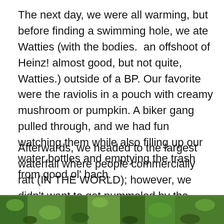The next day, we were all warming, but before finding a swimming hole, we ate Watties (with the bodies.  an offshoot of Heinz! almost good, but not quite, Watties.) outside of a BP. Our favorite were the raviolis in a pouch with creamy mushroom or pumpkin. A biker gang pulled through, and we had fun watching them while also filling up our water bottles and emptying the trash from good ol' bach.
Afterwards, we headed to the largest waterfall where people commercially raft (IN THE WORLD); however, we didn't want to get pummeled by the potential raftage, so we decided to go further down the river to find a swimming spot.
[Figure (photo): Partial photo of a green outdoor/nature scene visible at the bottom of the page, showing foliage and trees.]